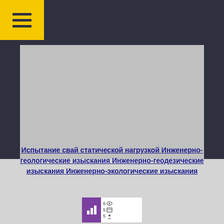[Figure (screenshot): Navigation bar with yellow hamburger menu icon on dark background]
[Figure (photo): Gray placeholder image area on dark background]
Copyright © 2020
Испытание свай статической нагрузкой Инженерно-геологические изыскания Инженерно-геодезические изыскания Инженерно-экологические изыскания
[Figure (infographic): Small badge icon with purple chart symbol and numbers 6, 5, 5 with eye, document, and person icons]